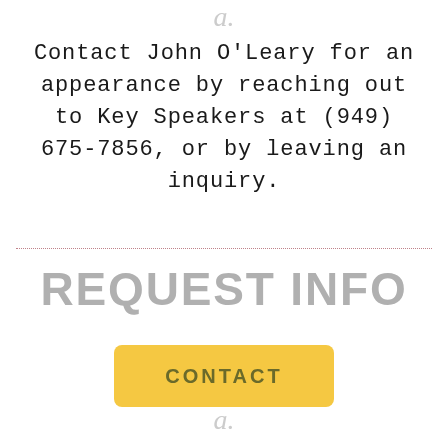[Figure (logo): Small decorative logo/icon at top center of page]
Contact John O'Leary for an appearance by reaching out to Key Speakers at (949) 675-7856, or by leaving an inquiry.
REQUEST INFO
[Figure (other): Yellow rounded rectangle button labeled CONTACT]
[Figure (logo): Small decorative logo/icon at bottom center of page]